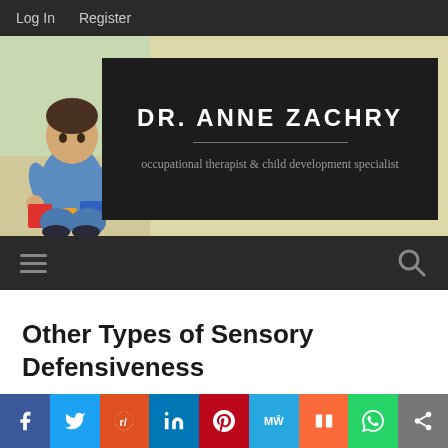Log In   Register
[Figure (screenshot): Website header banner for Dr. Anne Zachry blog. Shows a child playing with colorful blocks on the left, and a dark overlay box on the right containing the site name DR. ANNE ZACHRY and subtitle 'occupational therapist & child development specialist'.]
DR. ANNE ZACHRY
occupational therapist & child development specialist
Other Types of Sensory Defensiveness
[Figure (infographic): Social media share buttons bar: Facebook (blue), Twitter (light blue), Reddit (orange-red), LinkedIn (blue), Pinterest (red), MeWe (teal), Mix (orange), WhatsApp (green), Share (gray)]